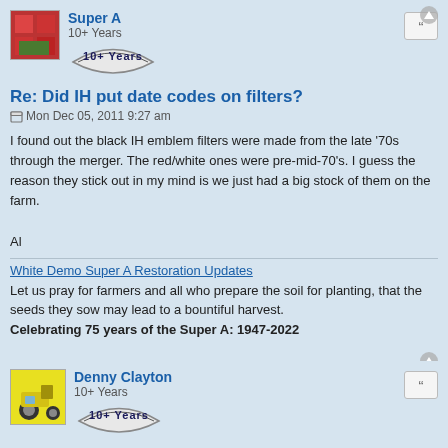Super A
10+ Years
Re: Did IH put date codes on filters?
Mon Dec 05, 2011 9:27 am
I found out the black IH emblem filters were made from the late '70s through the merger. The red/white ones were pre-mid-70's. I guess the reason they stick out in my mind is we just had a big stock of them on the farm.

Al
White Demo Super A Restoration Updates
Let us pray for farmers and all who prepare the soil for planting, that the seeds they sow may lead to a bountiful harvest.
Celebrating 75 years of the Super A: 1947-2022
Denny Clayton
10+ Years